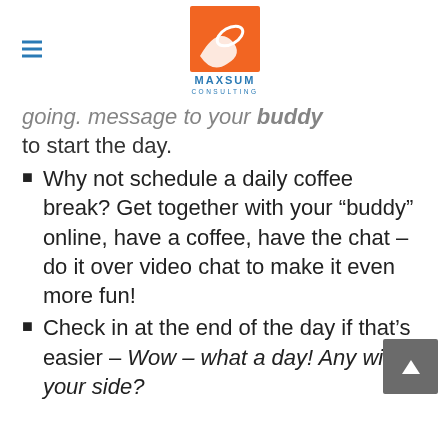MAXSUM CONSULTING logo with hamburger menu
going. message to your buddy to start the day.
Why not schedule a daily coffee break? Get together with your “buddy” online, have a coffee, have the chat – do it over video chat to make it even more fun!
Check in at the end of the day if that’s easier – Wow – what a day! Any wins your side?